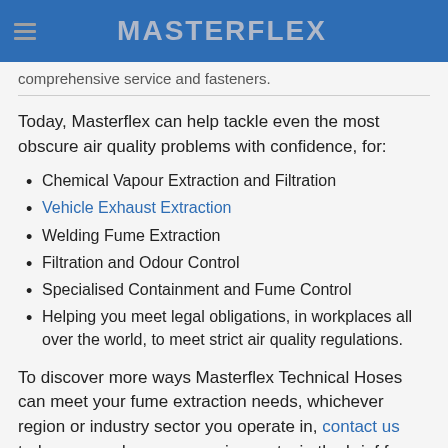MASTERFLEX
comprehensive service and fasteners.
Today, Masterflex can help tackle even the most obscure air quality problems with confidence, for:
Chemical Vapour Extraction and Filtration
Vehicle Exhaust Extraction
Welding Fume Extraction
Filtration and Odour Control
Specialised Containment and Fume Control
Helping you meet legal obligations, in workplaces all over the world, to meet strict air quality regulations.
To discover more ways Masterflex Technical Hoses can meet your fume extraction needs, whichever region or industry sector you operate in, contact us today; or send us your requirements, in the brief form below, so that we can recommend hose/s that would satisfy your